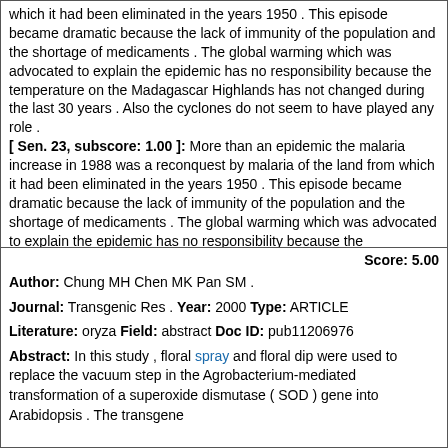which it had been eliminated in the years 1950 . This episode became dramatic because the lack of immunity of the population and the shortage of medicaments . The global warming which was advocated to explain the epidemic has no responsibility because the temperature on the Madagascar Highlands has not changed during the last 30 years . Also the cyclones do not seem to have played any role . [ Sen. 23, subscore: 1.00 ]: More than an epidemic the malaria increase in 1988 was a reconquest by malaria of the land from which it had been eliminated in the years 1950 . This episode became dramatic because the lack of immunity of the population and the shortage of medicaments . The global warming which was advocated to explain the epidemic has no responsibility because the temperature on the Madagascar Highlands has not changed during the last 30 years . Also the cyclones do not seem to have played any role . It is very likely that the gradual decline of control measures , first DDT spraying , later drug distributions , had the main responsibility in the Highlands drama . Everywhere An . funestus reached a high level during the time where the parasite reservoir was rebuilding . They synergised each other . These findings should be taken in account in drawing the strategy planning for the next years .
Score: 5.00
Author: Chung MH Chen MK Pan SM .
Journal: Transgenic Res . Year: 2000 Type: ARTICLE
Literature: oryza Field: abstract Doc ID: pub11206976
Abstract: In this study , floral spray and floral dip were used to replace the vacuum step in the Agrobacterium-mediated transformation of a superoxide dismutase ( SOD ) gene into Arabidopsis . The transgene